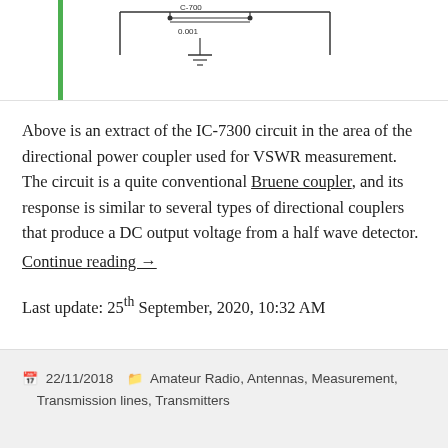[Figure (circuit-diagram): Partial circuit diagram extract of IC-7300 showing directional power coupler (Bruene coupler) with components including a 0.001 capacitor and inductor, with green vertical line on left side.]
Above is an extract of the IC-7300 circuit in the area of the directional power coupler used for VSWR measurement. The circuit is a quite conventional Bruene coupler, and its response is similar to several types of directional couplers that produce a DC output voltage from a half wave detector.
Continue reading →
Last update: 25th September, 2020, 10:32 AM
22/11/2018  Amateur Radio, Antennas, Measurement, Transmission lines, Transmitters